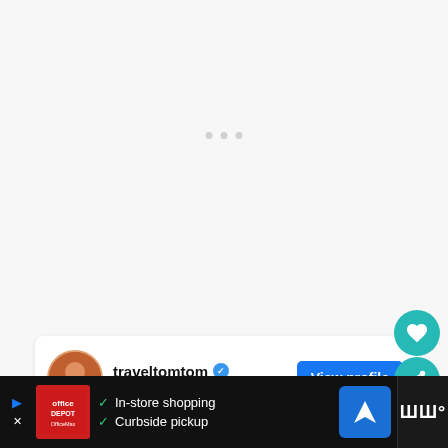[Figure (screenshot): Loading/blank gray area with three small gray dots indicating content loading]
[Figure (screenshot): Instagram profile card for traveltomtom with avatar, verified badge, location Brenner Tirol Austria, and View profile button]
traveltomtom
Brenner, Tirol, Austria
View profile
[Figure (screenshot): Advertisement banner: Office Depot/OfficeMax logo, In-store shopping, Curbside pickup text with green checkmarks, navigation icon, and weather/temperature area]